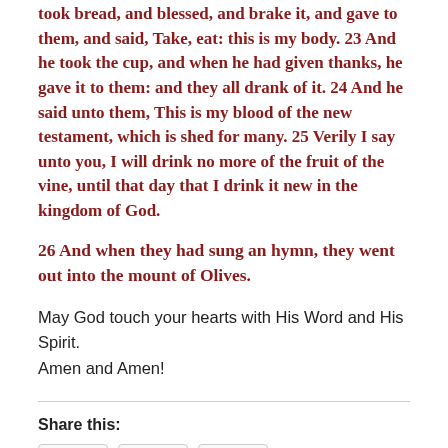took bread, and blessed, and brake it, and gave to them, and said, Take, eat: this is my body. 23 And he took the cup, and when he had given thanks, he gave it to them: and they all drank of it. 24 And he said unto them, This is my blood of the new testament, which is shed for many. 25 Verily I say unto you, I will drink no more of the fruit of the vine, until that day that I drink it new in the kingdom of God.
26 And when they had sung an hymn, they went out into the mount of Olives.
May God touch your hearts with His Word and His Spirit. Amen and Amen!
Share this: